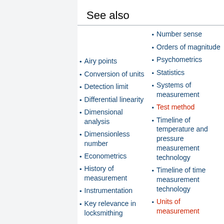See also
Airy points
Conversion of units
Detection limit
Differential linearity
Dimensional analysis
Dimensionless number
Econometrics
History of measurement
Instrumentation
Key relevance in locksmithing
Number sense
Orders of magnitude
Psychometrics
Statistics
Systems of measurement
Test method
Timeline of temperature and pressure measurement technology
Timeline of time measurement technology
Units of measurement